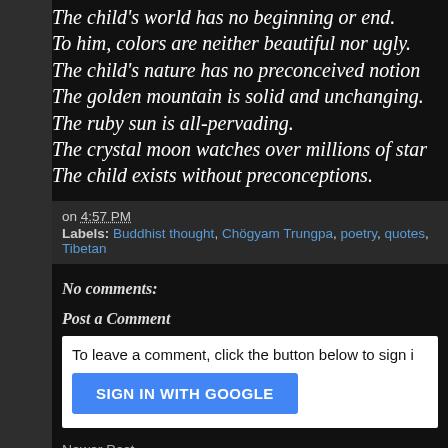The child's world has no beginning or end.
To him, colors are neither beautiful nor ugly.
The child's nature has no preconceived notion
The golden mountain is solid and unchanging.
The ruby sun is all-pervading.
The crystal moon watches over millions of star
The child exists without preconceptions.
on 4:57 PM
Labels: Buddhist thought, Chögyam Trungpa, poetry, quotes, Tibetan
No comments:
Post a Comment
To leave a comment, click the button below to sign i
SIGN IN WITH GOOGLE
Newer Post